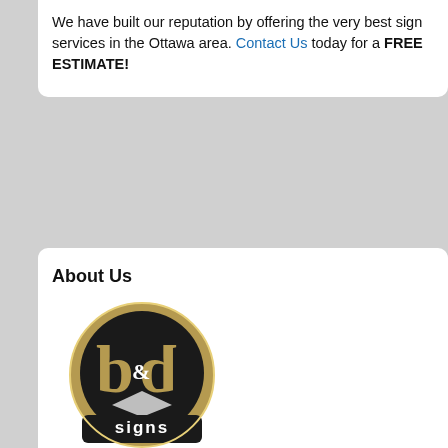We have built our reputation by offering the very best sign services in the Ottawa area. Contact Us today for a FREE ESTIMATE!
About Us
[Figure (logo): B&G Signs logo — shield/badge shape in gold and black with stylized letters b&g on top and 'signs' text below]
Ottawa Signs has been serving the greater Ottawa area for more than 20 years. We are a professional sign service company that offers sign installation, sign maintenance and service within the Ottawa and surrounding areas.
Our services include, signs, vehicle lettering, Architectural lettering, office signs, decals, labels, A-frames, and much more!
[Figure (other): Row of four social media icon buttons: Facebook (blue), Twitter (light blue), Google+ (red), and an orange icon]